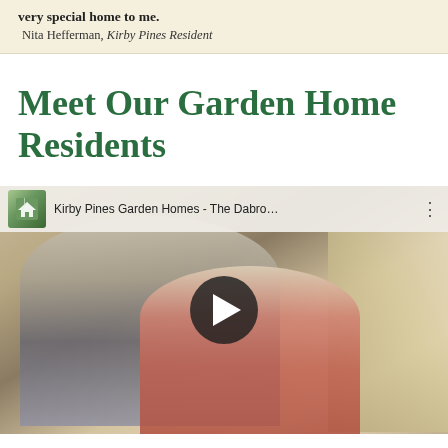very special home to me.
Nita Hefferman, Kirby Pines Resident
Meet Our Garden Home Residents
[Figure (screenshot): YouTube embedded video player showing 'Kirby Pines Garden Homes - The Dabro...' with a couple smiling indoors, a play button overlay, and the YouTube UI top bar with thumbnail and title.]